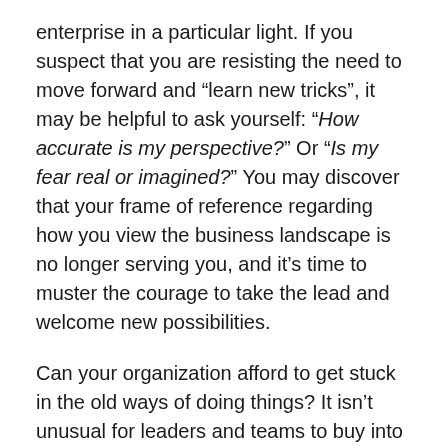enterprise in a particular light. If you suspect that you are resisting the need to move forward and “learn new tricks”, it may be helpful to ask yourself: “How accurate is my perspective?” Or “Is my fear real or imagined?” You may discover that your frame of reference regarding how you view the business landscape is no longer serving you, and it’s time to muster the courage to take the lead and welcome new possibilities.
Can your organization afford to get stuck in the old ways of doing things? It isn’t unusual for leaders and teams to buy into the chorus of voices that say: “Why do we need to change if everything’s working? We’ve always done it that way so why should we change now?” There is a new imperative requiring you to be that “new